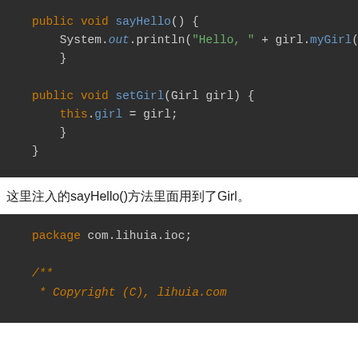[Figure (screenshot): Dark-themed Java code editor screenshot showing public void sayHello() method printing Hello with girl.myGirl() and public void setGirl(Girl girl) method setting this.girl = girl]
这里注入的sayHello()方法里面用到了Girl。
[Figure (screenshot): Dark-themed Java code editor screenshot showing package com.lihuia.ioc; and start of Javadoc comment /** * Copyright (C), lihuia.com]